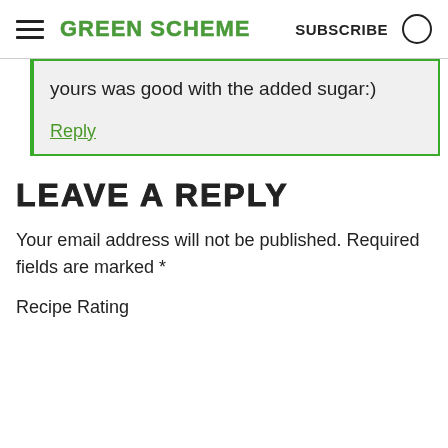GREEN SCHEME  SUBSCRIBE
yours was good with the added sugar:)
Reply
LEAVE A REPLY
Your email address will not be published. Required fields are marked *
Recipe Rating